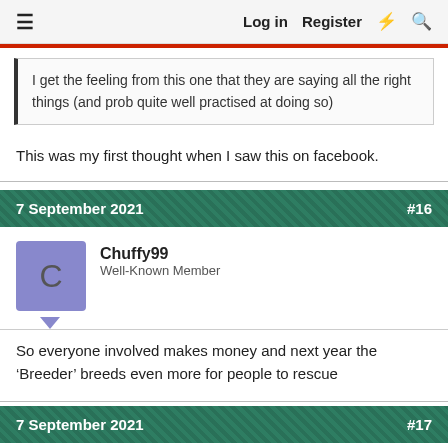≡  Log in  Register  ⚡  🔍
I get the feeling from this one that they are saying all the right things (and prob quite well practised at doing so)
This was my first thought when I saw this on facebook.
7 September 2021   #16
Chuffy99
Well-Known Member
So everyone involved makes money and next year the ‘Breeder’ breeds even more for people to rescue
7 September 2021   #17